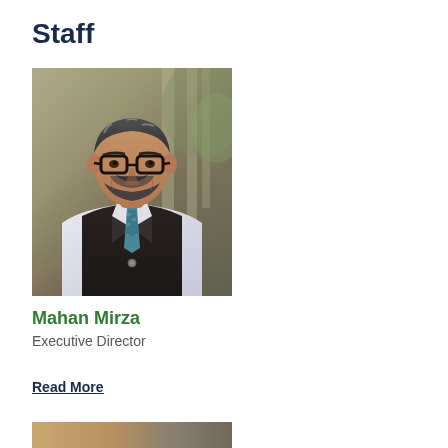Staff
[Figure (photo): Professional headshot of Mahan Mirza, a man with gray-streaked hair and beard, wearing glasses, a black vest over a white shirt, and a teal/blue patterned tie, photographed indoors with a blurred background]
Mahan Mirza
Executive Director
Read More
[Figure (photo): Partial view of a second staff member's photo, cropped at the bottom of the page]